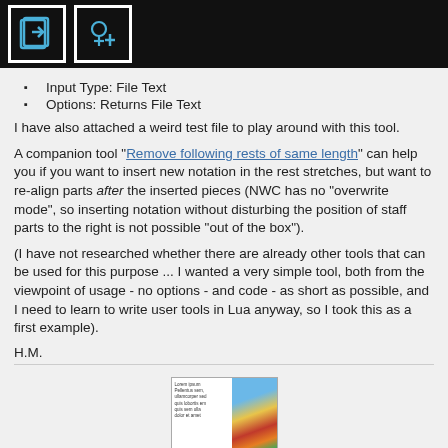[icons: export/import tool icons]
Input Type: File Text
Options: Returns File Text
I have also attached a weird test file to play around with this tool.
A companion tool "Remove following rests of same length" can help you if you want to insert new notation in the rest stretches, but want to re-align parts after the inserted pieces (NWC has no "overwrite mode", so inserting notation without disturbing the position of staff parts to the right is not possible "out of the box").
(I have not researched whether there are already other tools that can be used for this purpose ... I wanted a very simple tool, both from the viewpoint of usage - no options - and code - as short as possible, and I need to learn to write user tools in Lua anyway, so I took this as a first example).
H.M.
[Figure (other): Thumbnail image of an attached file showing Lorem ipsum placeholder text on the left and a hot air balloon photo on the right]